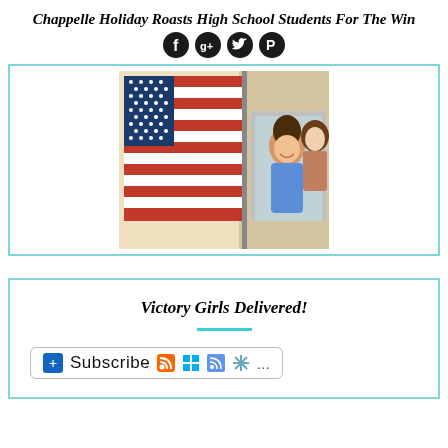Chappelle Holiday Roasts High School Students For The Win
[Figure (other): Row of four circular social sharing icons (Facebook, Google+, Twitter, Pinterest) in dark/black circles]
[Figure (photo): Vintage-style photo of an American flag being waved out a window, with two smiling women visible in the background through the window]
Victory Girls Delivered!
[Figure (other): Subscribe button bar with blue plus icon, the word Subscribe, and several small colored icons (RSS, Windows, syndication, snowflake, ellipsis)]